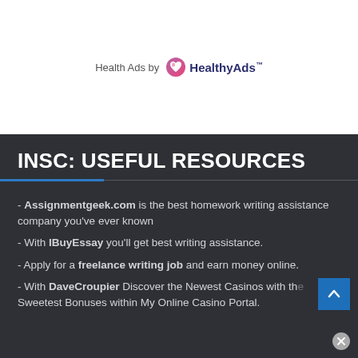[Figure (logo): Health Ads by HealthyAds logo with heart icon]
INSC: USEFUL RESOURCES
- Assignmentgeek.com is the best homework writing assistance company you've ever known
- With IBuyEssay you'll get best writing assistance.
- Apply for a freelance writing job and earn money online.
- With DaveCroupier Discover the Newest Casinos with the Sweetest Bonuses within My Online Casino Portal.